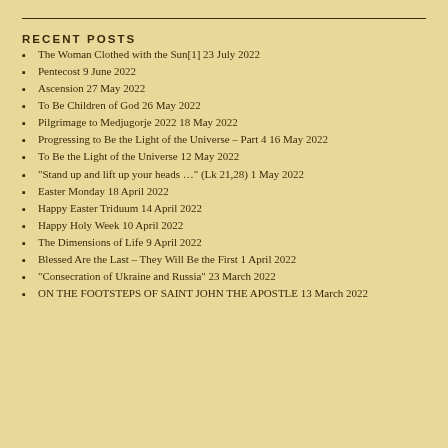RECENT POSTS
The Woman Clothed with the Sun[1] 23 July 2022
Pentecost 9 June 2022
Ascension 27 May 2022
To Be Children of God 26 May 2022
Pilgrimage to Medjugorje 2022 18 May 2022
Progressing to Be the Light of the Universe – Part 4 16 May 2022
To Be the Light of the Universe 12 May 2022
"Stand up and lift up your heads …" (Lk 21,28) 1 May 2022
Easter Monday 18 April 2022
Happy Easter Triduum 14 April 2022
Happy Holy Week 10 April 2022
The Dimensions of Life 9 April 2022
Blessed Are the Last – They Will Be the First 1 April 2022
"Consecration of Ukraine and Russia" 23 March 2022
ON THE FOOTSTEPS OF SAINT JOHN THE APOSTLE 13 March 2022